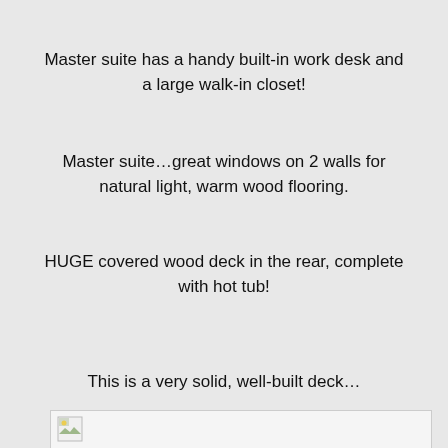Master suite has a handy built-in work desk and a large walk-in closet!
Master suite…great windows on 2 walls for natural light, warm wood flooring.
HUGE covered wood deck in the rear, complete with hot tub!
This is a very solid, well-built deck…
[Figure (photo): Broken/missing image placeholder at the bottom of the listing text]